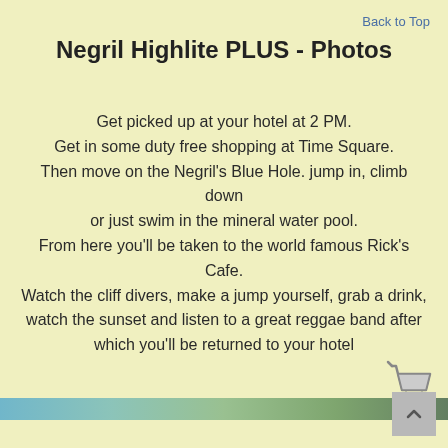Back to Top
Negril Highlite PLUS - Photos
Get picked up at your hotel at 2 PM.
Get in some duty free shopping at Time Square.
Then move on the Negril's Blue Hole. jump in, climb down or just swim in the mineral water pool.
From here you'll be taken to the world famous Rick's Cafe.
Watch the cliff divers, make a jump yourself, grab a drink, watch the sunset and listen to a great reggae band after which you'll be returned to your hotel
[Figure (photo): Partial photo strip showing scenic/nature images at the bottom of the content area]
[Figure (illustration): Shopping cart icon in the lower right area]